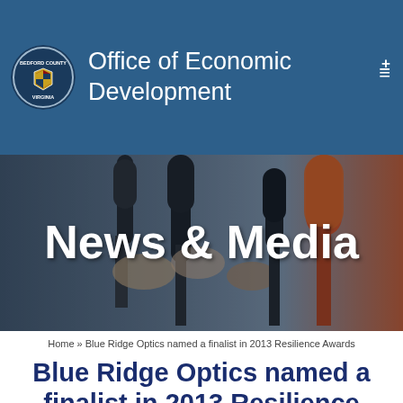Office of Economic Development
[Figure (photo): News & Media banner with journalists holding microphones]
News & Media
Home » Blue Ridge Optics named a finalist in 2013 Resilience Awards
Blue Ridge Optics named a finalist in 2013 Resilience Awards